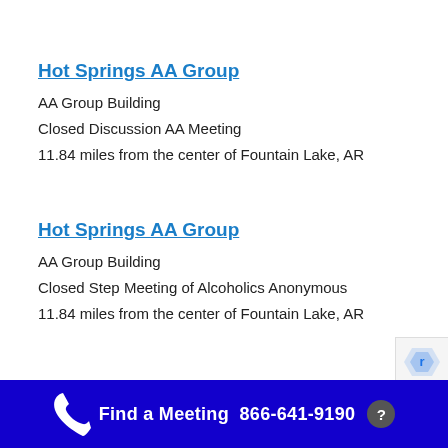Hot Springs AA Group
AA Group Building
Closed Discussion AA Meeting
11.84 miles from the center of Fountain Lake, AR
Hot Springs AA Group
AA Group Building
Closed Step Meeting of Alcoholics Anonymous
11.84 miles from the center of Fountain Lake, AR
Find a Meeting  866-641-9190